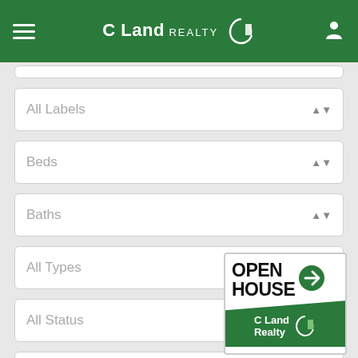[Figure (logo): C Land Realty app header with hamburger menu, C Land Realty logo, and user icon on green background]
All Labels
Beds
Baths
All Types
All Status
NJ MLS#
[Figure (logo): Open House sign with C Land Realty branding — white top with OPEN HOUSE text and green arrow, green bottom with C Land Realty logo]